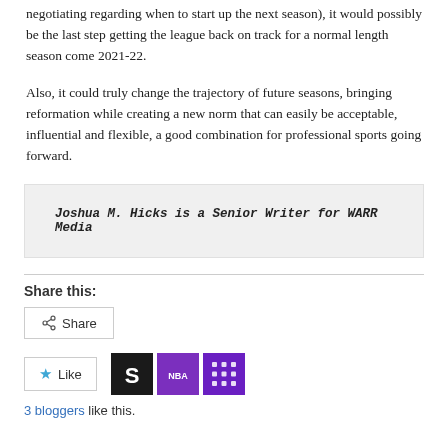negotiating regarding when to start up the next season), it would possibly be the last step getting the league back on track for a normal length season come 2021-22.
Also, it could truly change the trajectory of future seasons, bringing reformation while creating a new norm that can easily be acceptable, influential and flexible, a good combination for professional sports going forward.
Joshua M. Hicks is a Senior Writer for WARR Media
Share this:
Share
Like
3 bloggers like this.